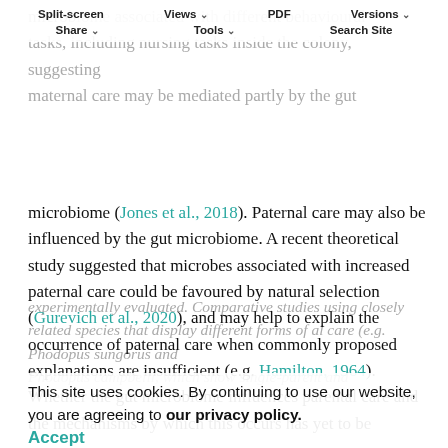Split-screen | Views | PDF | Versions | Share | Tools | Search Site
microbiome (Jones et al., 2018). Paternal care may also be influenced by the gut microbiome. A recent theoretical study suggested that microbes associated with increased paternal care could be favoured by natural selection (Gurevich et al., 2020), and may help to explain the occurrence of paternal care when commonly proposed explanations are insufficient (e.g. Hamilton, 1964). Whether the gut microbiome influences parental care and the mechanisms by which this occurs has yet to be experimentally evaluated. Comparative studies using closely related species that display different forms of parental care (e.g. Phodopus sungorus and Phodopus campbelli, which show single-parent and
This site uses cookies. By continuing to use our website, you are agreeing to our privacy policy. Accept